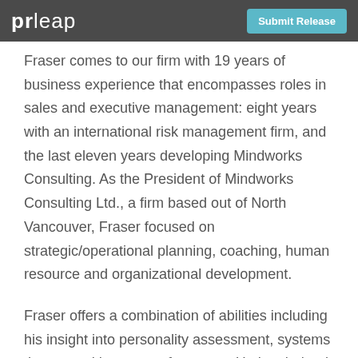prleap | Submit Release
Fraser comes to our firm with 19 years of business experience that encompasses roles in sales and executive management: eight years with an international risk management firm, and the last eleven years developing Mindworks Consulting. As the President of Mindworks Consulting Ltd., a firm based out of North Vancouver, Fraser focused on strategic/operational planning, coaching, human resource and organizational development.
Fraser offers a combination of abilities including his insight into personality assessment, systems theory, and human performance. He has helped hundreds of individuals and organizations improve their business results and effectiveness through his consultancy,